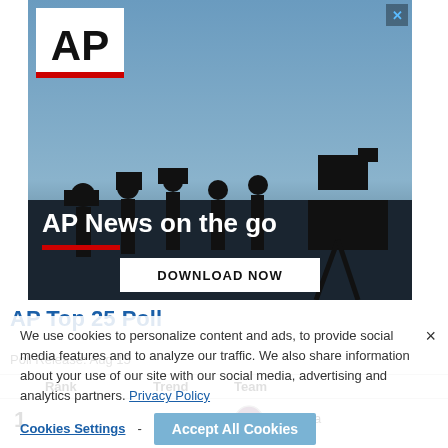[Figure (photo): AP News advertisement banner showing silhouettes of camera operators and journalists against a blue sky, with AP logo in top left, tagline 'AP News on the go', a red underline accent, and a 'DOWNLOAD NOW' button.]
AP Top 25 Poll
Poll Release: Aug 15
We use cookies to personalize content and ads, to provide social media features and to analyze our traffic. We also share information about your use of our site with our social media, advertising and analytics partners. Privacy Policy
| Rank | Trend | Team |
| --- | --- | --- |
| 1 | - | Alabama |